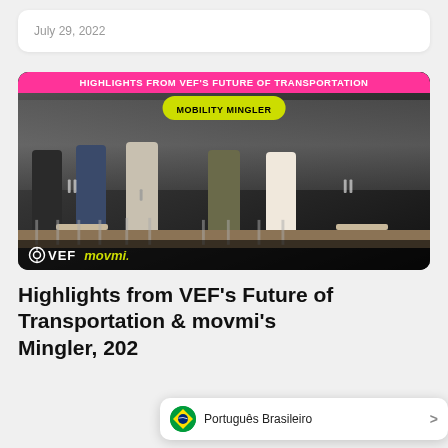July 29, 2022
[Figure (photo): Panel discussion photo from VEF's Future of Transportation Mobility Mingler event, showing five panelists seated on stage with text overlays: pink banner reading 'HIGHLIGHTS FROM VEF'S FUTURE OF TRANSPORTATION', green banner reading 'MOBILITY MINGLER', and VEF/movmi logos at bottom.]
Highlights from VEF's Future of Transportation & movmi's Mingler, 202
Português Brasileiro